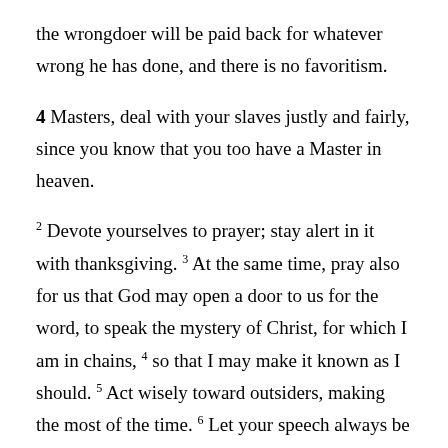the wrongdoer will be paid back for whatever wrong he has done, and there is no favoritism.
4 Masters, deal with your slaves justly and fairly, since you know that you too have a Master in heaven.
2 Devote yourselves to prayer; stay alert in it with thanksgiving. 3 At the same time, pray also for us that God may open a door to us for the word, to speak the mystery of Christ, for which I am in chains, 4 so that I may make it known as I should. 5 Act wisely toward outsiders, making the most of the time. 6 Let your speech always be gracious, seasoned with salt, so that you may know how you should answer each person.
7 Tychicus, our dearly loved brother, faithful minister, and